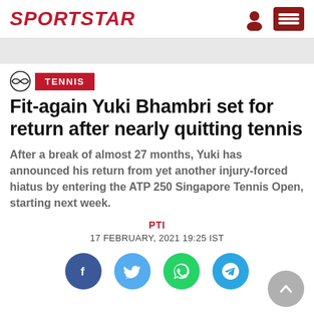SPORTSTAR
TENNIS
Fit-again Yuki Bhambri set for return after nearly quitting tennis
After a break of almost 27 months, Yuki has announced his return from yet another injury-forced hiatus by entering the ATP 250 Singapore Tennis Open, starting next week.
PTI
17 FEBRUARY, 2021 19:25 IST